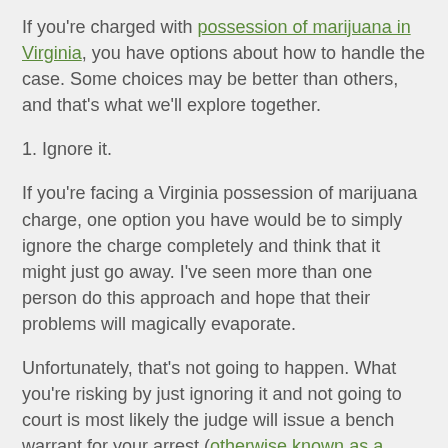If you're charged with possession of marijuana in Virginia, you have options about how to handle the case. Some choices may be better than others, and that's what we'll explore together.
1. Ignore it.
If you're facing a Virginia possession of marijuana charge, one option you have would be to simply ignore the charge completely and think that it might just go away. I've seen more than one person do this approach and hope that their problems will magically evaporate.
Unfortunately, that's not going to happen. What you're risking by just ignoring it and not going to court is most likely the judge will issue a bench warrant for your arrest (otherwise known as a capias warrant). If this happens, you're going to have compounded your problems by having an additional charge for failing to